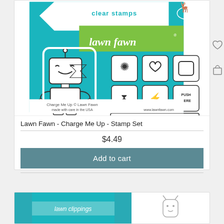[Figure (photo): Lawn Fawn Charge Me Up clear stamp set product image showing a cute robot stamp with various small stamps including a heart, square, battery shapes, and text 'you CHARGE ME UP!' on a teal background with the Lawn Fawn logo]
Lawn Fawn - Charge Me Up - Stamp Set
$4.49
Add to cart
[Figure (photo): Partial view of a second Lawn Fawn product card showing the bottom portion with a teal background labeled 'lawn clippings' and a small deer/animal illustration]